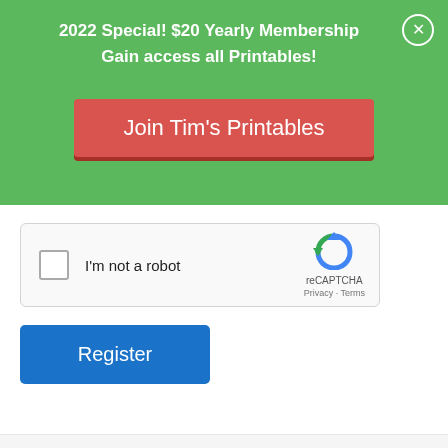2022 Special! $20 Yearly Membership
Gain access all Printables!
Join Tim's Printables
[Figure (other): reCAPTCHA widget with checkbox labeled 'I'm not a robot' and reCAPTCHA logo with Privacy and Terms links]
Register